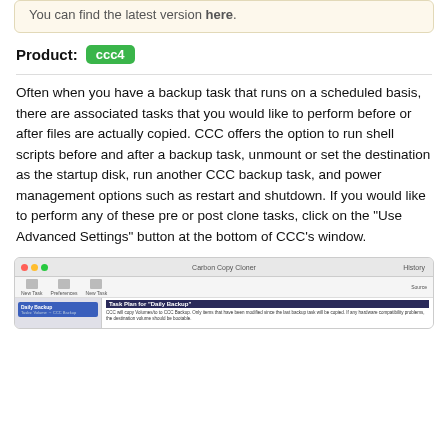You can find the latest version here.
Product: ccc4
Often when you have a backup task that runs on a scheduled basis, there are associated tasks that you would like to perform before or after files are actually copied. CCC offers the option to run shell scripts before and after a backup task, unmount or set the destination as the startup disk, run another CCC backup task, and power management options such as restart and shutdown. If you would like to perform any of these pre or post clone tasks, click on the "Use Advanced Settings" button at the bottom of CCC's window.
[Figure (screenshot): Carbon Copy Cloner application window showing a task plan for 'Daily Backup' with a sidebar showing backup tasks and a main content area with task details.]